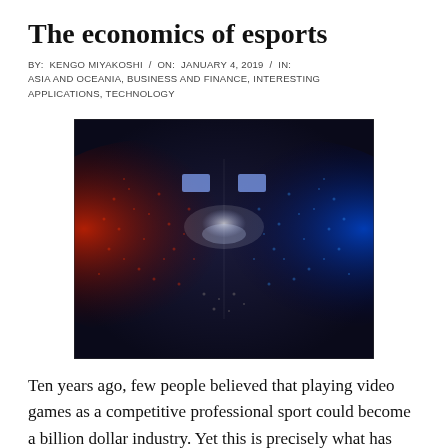The economics of esports
BY: KENGO MIYAKOSHI / ON: JANUARY 4, 2019 / IN: ASIA AND OCEANIA, BUSINESS AND FINANCE, INTERESTING APPLICATIONS, TECHNOLOGY
[Figure (photo): Aerial view of a packed esports arena with dramatic red and blue lighting, showing thousands of spectators surrounding a central stage with large display screens]
Ten years ago, few people believed that playing video games as a competitive professional sport could become a billion dollar industry. Yet this is precisely what has happened. Within just one decade, the